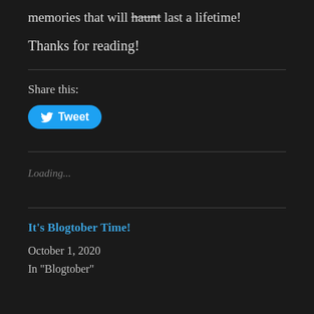memories that will haunt last a lifetime!
Thanks for reading!
Share this:
[Figure (other): Twitter Tweet button — blue rounded button with bird icon and 'Tweet' label]
Loading...
It's Blogtober Time!
October 1, 2020
In "Blogtober"